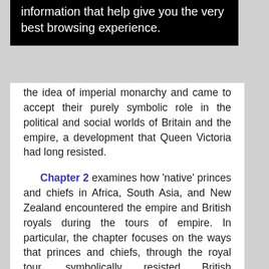[Figure (screenshot): Black banner with white text: 'information that help give you the very best browsing experience.']
the idea of imperial monarchy and came to accept their purely symbolic role in the political and social worlds of Britain and the empire, a development that Queen Victoria had long resisted.
Chapter 2 examines how 'native' princes and chiefs in Africa, South Asia, and New Zealand encountered the empire and British royals during the tours of empire. In particular, the chapter focuses on the ways that princes and chiefs, through the royal tour, symbolically resisted British appropriation of local political traditions or used connections with the British to invent or accentuate their own status and authority. At the same time, it also explores how colonial administrators, such as Lord